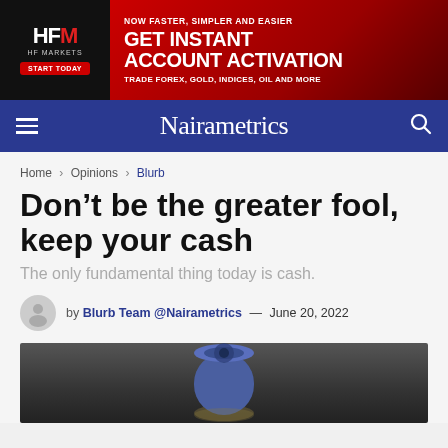[Figure (other): HFM (HF Markets) advertisement banner: 'NOW FASTER, SIMPLER AND EASIER - GET INSTANT ACCOUNT ACTIVATION - TRADE FOREX, GOLD, INDICES, OIL AND MORE']
Nairametrics
Home > Opinions > Blurb
Don't be the greater fool, keep your cash
The only fundamental thing today is cash.
by Blurb Team @Nairametrics — June 20, 2022
[Figure (photo): Close-up photo of a rolled banknote (Nigerian naira) standing upright against a blurred dark background]